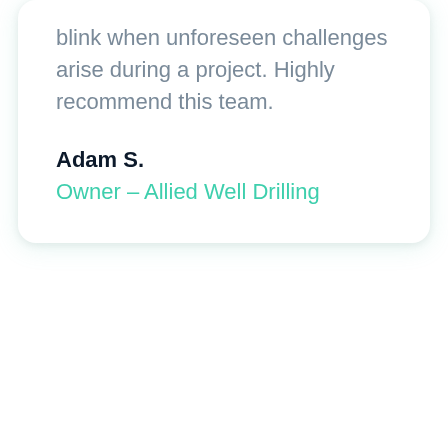blink when unforeseen challenges arise during a project. Highly recommend this team.
Adam S.
Owner – Allied Well Drilling